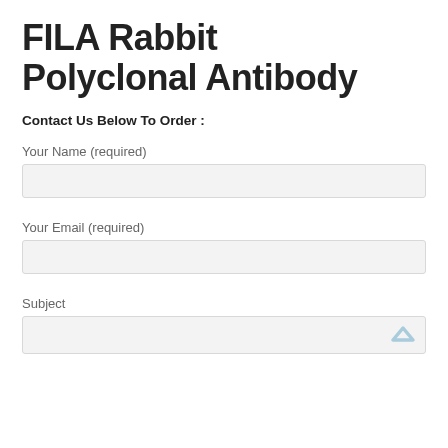FILA Rabbit Polyclonal Antibody
Contact Us Below To Order :
Your Name (required)
Your Email (required)
Subject